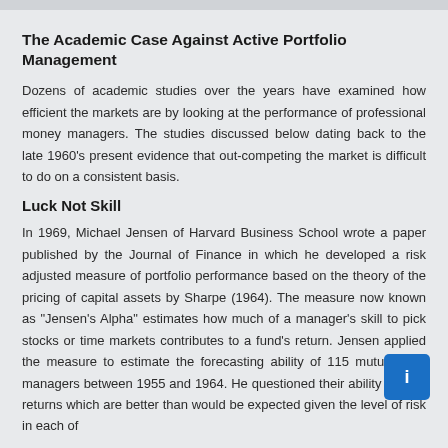The Academic Case Against Active Portfolio Management
Dozens of academic studies over the years have examined how efficient the markets are by looking at the performance of professional money managers. The studies discussed below dating back to the late 1960’s present evidence that out-competing the market is difficult to do on a consistent basis.
Luck Not Skill
In 1969, Michael Jensen of Harvard Business School wrote a paper published by the Journal of Finance in which he developed a risk adjusted measure of portfolio performance based on the theory of the pricing of capital assets by Sharpe (1964). The measure now known as “Jensen’s Alpha” estimates how much of a manager’s skill to pick stocks or time markets contributes to a fund’s return. Jensen applied the measure to estimate the forecasting ability of 115 mutual fund managers between 1955 and 1964. He questioned their ability to earn returns which are better than would be expected given the level of risk in each of